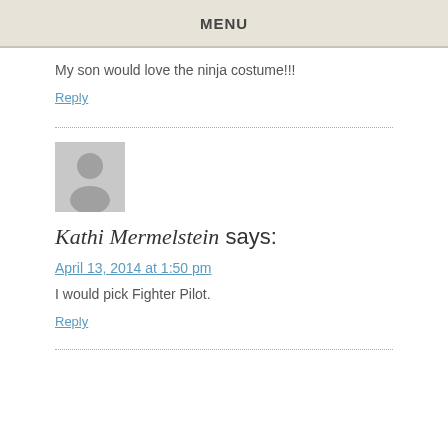MENU
My son would love the ninja costume!!!
Reply
[Figure (illustration): Generic grey avatar silhouette placeholder image]
Kathi Mermelstein says:
April 13, 2014 at 1:50 pm
I would pick Fighter Pilot.
Reply